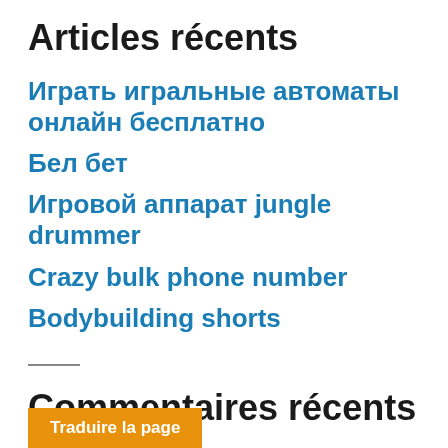Articles récents
Играть игральные автоматы онлайн бесплатно
Бел бет
Игровой аппарат jungle drummer
Crazy bulk phone number
Bodybuilding shorts
Commentaires récents
Traduire la page